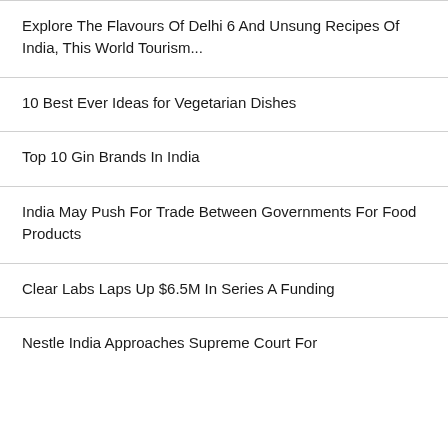Explore The Flavours Of Delhi 6 And Unsung Recipes Of India, This World Tourism...
10 Best Ever Ideas for Vegetarian Dishes
Top 10 Gin Brands In India
India May Push For Trade Between Governments For Food Products
Clear Labs Laps Up $6.5M In Series A Funding
Nestle India Approaches Supreme Court For